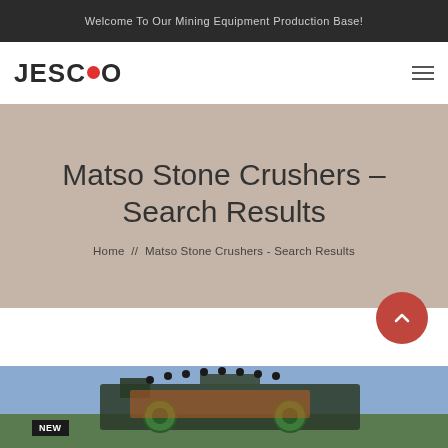Welcome To Our Mining Equipment Production Base!
[Figure (logo): JESCO logo with red dot between C and O]
Matso Stone Crushers - Search Results
Home // Matso Stone Crushers - Search Results
[Figure (photo): Mining crusher machine photograph at bottom of page with NEW badge label]